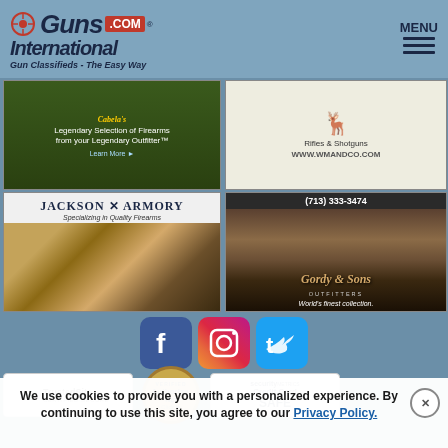[Figure (logo): Guns International .com logo with crosshair and tagline 'Gun Classifieds - The Easy Way']
MENU
[Figure (photo): Green background ad with text 'Legendary Selection of Firearms from your Legendary Outfitter' and 'Learn More']
[Figure (photo): WM&Co ad with animal illustration, Rifles & Shotguns, WWW.WMANDCO.COM]
[Figure (photo): Jackson Armory ad - Specializing in Quality Firearms with antique gun photo]
[Figure (photo): Gordy & Sons Outfitters ad with phone (713) 333-3474 and tagline World's finest collection]
[Figure (infographic): Facebook, Instagram, and Twitter social media icons]
[Figure (infographic): TrustedSite Certified Secure badge]
[Figure (infographic): Authorize.Net Verified badge]
[Figure (infographic): SecurityMetrics Credit Card Safe badge]
We use cookies to provide you with a personalized experience. By continuing to use this site, you agree to our Privacy Policy.